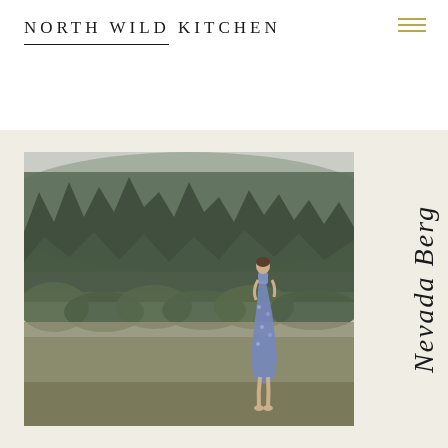NORTH WILD KITCHEN
[Figure (photo): Woman in a floral dress walking in a meadow with dense forest and misty mountains in the background]
Nevada Berg